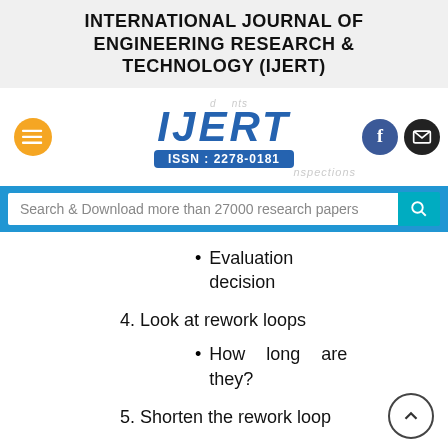INTERNATIONAL JOURNAL OF ENGINEERING RESEARCH & TECHNOLOGY (IJERT)
[Figure (logo): IJERT logo with ISSN: 2278-0181, hamburger menu button (orange), Facebook and email social buttons]
Search & Download more than 27000 research papers
Evaluation decision
4. Look at rework loops
How long are they?
5. Shorten the rework loop